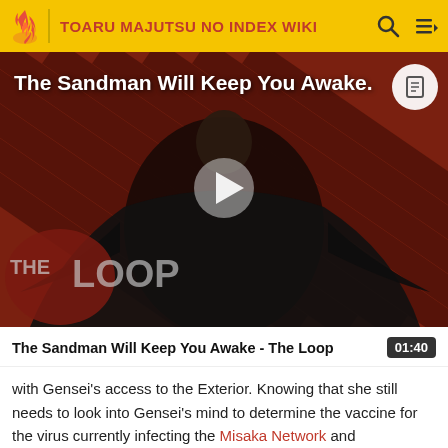TOARU MAJUTSU NO INDEX WIKI
[Figure (screenshot): Video thumbnail showing a dark figure in a black cloak with diagonal striped red-brown background and 'THE LOOP' text overlay. A play button is visible in the center. Title 'The Sandman Will Keep You Awake.' overlaid in white text.]
The Sandman Will Keep You Awake - The Loop 01:40
with Gensei's access to the Exterior. Knowing that she still needs to look into Gensei's mind to determine the vaccine for the virus currently infecting the Misaka Network and